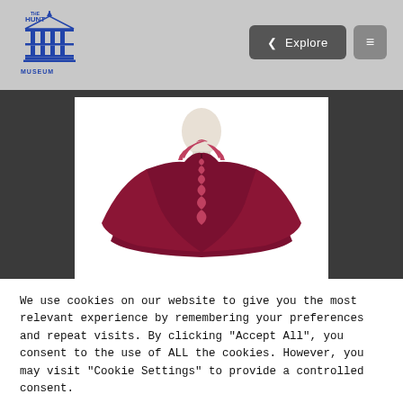[Figure (logo): The Hunt Museum logo — blue illustrated building with text 'THE HUNT MUSEUM' below]
[Figure (photo): A deep red/burgundy ruffled cape or cloak displayed on a mannequin against a white background, with ruffled collar detail down the front]
We use cookies on our website to give you the most relevant experience by remembering your preferences and repeat visits. By clicking "Accept All", you consent to the use of ALL the cookies. However, you may visit "Cookie Settings" to provide a controlled consent.
Cookie Settings
Accept All